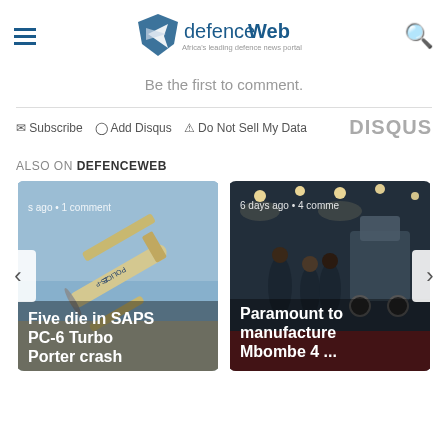defenceWeb — Africa's leading defence news portal
Be the first to comment.
Subscribe  Add Disqus  Do Not Sell My Data   DISQUS
ALSO ON DEFENCEWEB
[Figure (photo): Card showing an upside-down SAPS PC-6 Turbo Porter aircraft against blue sky, with caption: 's ago • 1 comment — Five die in SAPS PC-6 Turbo Porter crash']
[Figure (photo): Card showing people at a defence expo/trade show, with caption: '6 days ago • 4 comme — Paramount to manufacture Mbombe 4 ...']